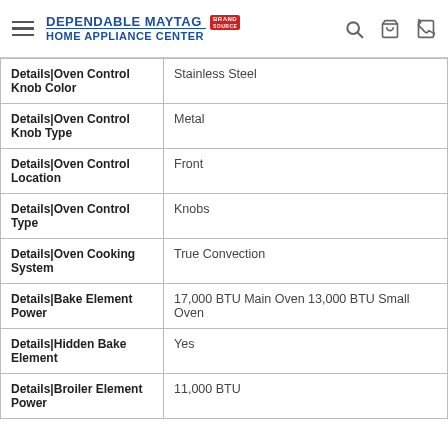Dependable Maytag Home Appliance Center | Brand Source
| Attribute | Value |
| --- | --- |
| Details|Oven Control Knob Color | Stainless Steel |
| Details|Oven Control Knob Type | Metal |
| Details|Oven Control Location | Front |
| Details|Oven Control Type | Knobs |
| Details|Oven Cooking System | True Convection |
| Details|Bake Element Power | 17,000 BTU Main Oven 13,000 BTU Small Oven |
| Details|Hidden Bake Element | Yes |
| Details|Broiler Element Power | 11,000 BTU |